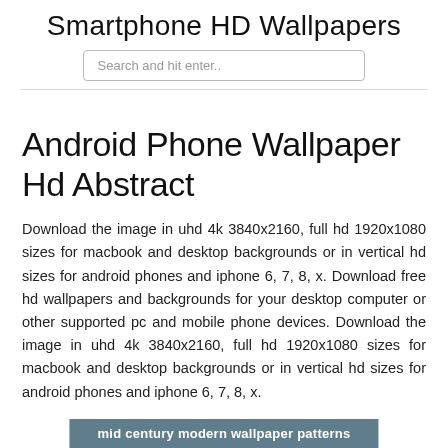Smartphone HD Wallpapers
Search and hit enter..
Android Phone Wallpaper Hd Abstract
Download the image in uhd 4k 3840x2160, full hd 1920x1080 sizes for macbook and desktop backgrounds or in vertical hd sizes for android phones and iphone 6, 7, 8, x. Download free hd wallpapers and backgrounds for your desktop computer or other supported pc and mobile phone devices. Download the image in uhd 4k 3840x2160, full hd 1920x1080 sizes for macbook and desktop backgrounds or in vertical hd sizes for android phones and iphone 6, 7, 8, x.
mid century modern wallpaper patterns